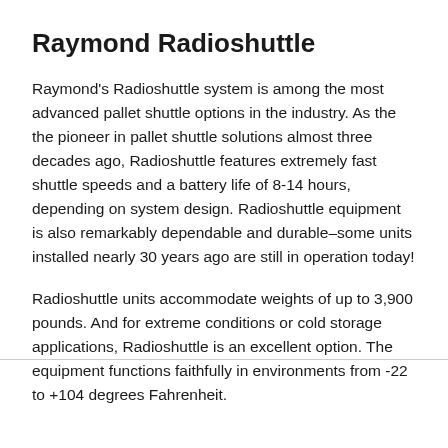Raymond Radioshuttle
Raymond's Radioshuttle system is among the most advanced pallet shuttle options in the industry. As the the pioneer in pallet shuttle solutions almost three decades ago, Radioshuttle features extremely fast shuttle speeds and a battery life of 8-14 hours, depending on system design. Radioshuttle equipment is also remarkably dependable and durable–some units installed nearly 30 years ago are still in operation today!
Radioshuttle units accommodate weights of up to 3,900 pounds. And for extreme conditions or cold storage applications, Radioshuttle is an excellent option. The equipment functions faithfully in environments from -22 to +104 degrees Fahrenheit.